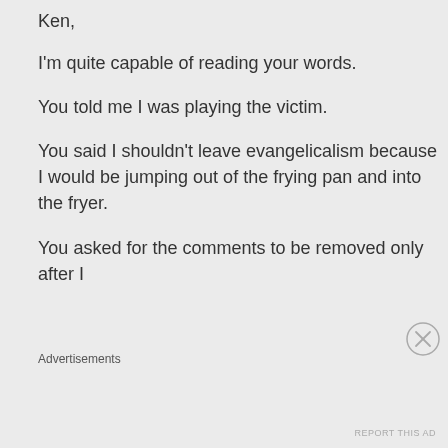Ken,
I'm quite capable of reading your words.
You told me I was playing the victim.
You said I shouldn't leave evangelicalism because I would be jumping out of the frying pan and into the fryer.
You asked for the comments to be removed only after I
Advertisements